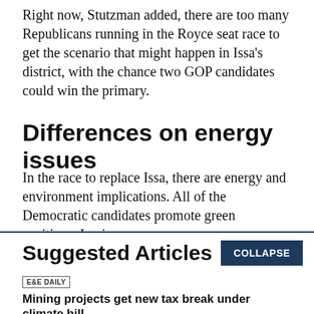Right now, Stutzman added, there are too many Republicans running in the Royce seat race to get the scenario that might happen in Issa’s district, with the chance two GOP candidates could win the primary.
Differences on energy issues
In the race to replace Issa, there are energy and environment implications. All of the Democratic candidates promote green positions. Levin, an
Suggested Articles
COLLAPSE
E&E DAILY
Mining projects get new tax break under climate bill
BY Jael Holzman | 08/15/2022 06:16 AM EDT
Read More >>
E&E DAILY
'A lot more to do': Lawmakers eye additional climate action